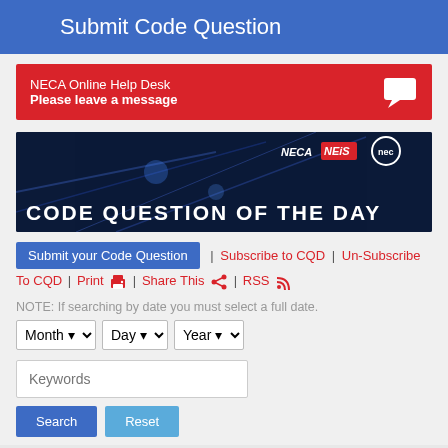Submit Code Question
[Figure (screenshot): NECA Online Help Desk red banner with chat icon. Text: NECA Online Help Desk / Please leave a message]
[Figure (screenshot): Code Question of the Day banner with NECA, NEiS, and NEC logos on dark blue background with fiber optic lights]
Submit your Code Question | Subscribe to CQD | Un-Subscribe To CQD | Print | Share This | RSS
NOTE: If searching by date you must select a full date.
Month Day Year (dropdown selects)
Keywords (input field)